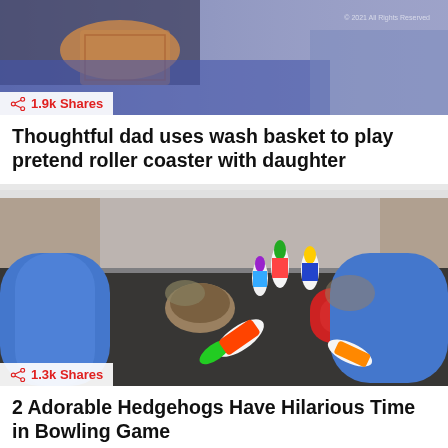[Figure (photo): Person with wash basket roller coaster image, partially visible top]
1.9k Shares
Thoughtful dad uses wash basket to play pretend roller coaster with daughter
[Figure (photo): Two hedgehogs among colorful toy bowling pins and blue foam pool noodles on a dark surface]
1.3k Shares
2 Adorable Hedgehogs Have Hilarious Time in Bowling Game